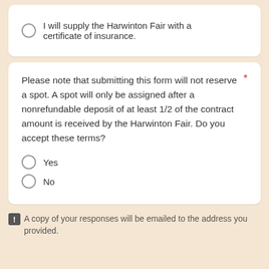I will supply the Harwinton Fair with a certificate of insurance.
Please note that submitting this form will not reserve a spot. A spot will only be assigned after a nonrefundable deposit of at least 1/2 of the contract amount is received by the Harwinton Fair. Do you accept these terms?
Yes
No
A copy of your responses will be emailed to the address you provided.